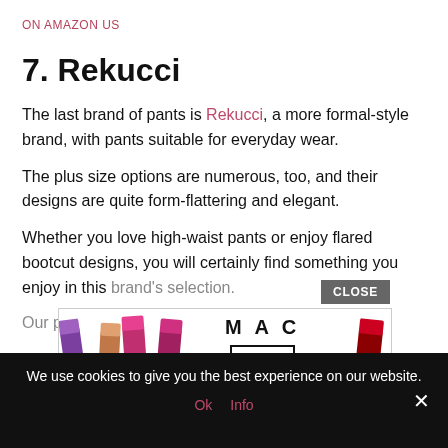ON AMAZON US
7. Rekucci
The last brand of pants is Rekucci, a more formal-style brand, with pants suitable for everyday wear.
The plus size options are numerous, too, and their designs are quite form-flattering and elegant.
Whether you love high-waist pants or enjoy flared bootcut designs, you will certainly find something you enjoy in this brand's selection.
Our pi... h
[Figure (screenshot): MAC Cosmetics advertisement banner with lipsticks on left and right, MAC logo in center, SHOP NOW button, and CLOSE button overlay]
We use cookies to give you the best experience on our website.
Ok   Info